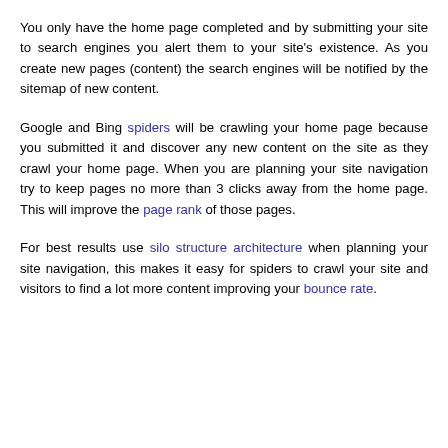You only have the home page completed and by submitting your site to search engines you alert them to your site's existence. As you create new pages (content) the search engines will be notified by the sitemap of new content.
Google and Bing spiders will be crawling your home page because you submitted it and discover any new content on the site as they crawl your home page. When you are planning your site navigation try to keep pages no more than 3 clicks away from the home page. This will improve the page rank of those pages.
For best results use silo structure architecture when planning your site navigation, this makes it easy for spiders to crawl your site and visitors to find a lot more content improving your bounce rate.